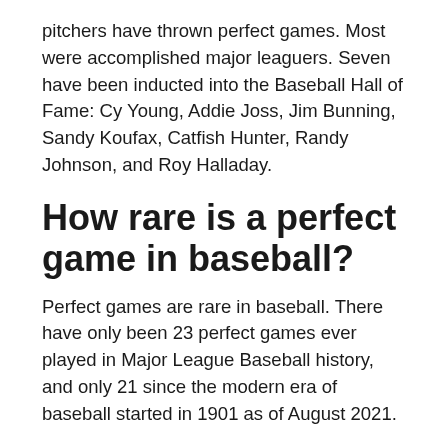pitchers have thrown perfect games. Most were accomplished major leaguers. Seven have been inducted into the Baseball Hall of Fame: Cy Young, Addie Joss, Jim Bunning, Sandy Koufax, Catfish Hunter, Randy Johnson, and Roy Halladay.
How rare is a perfect game in baseball?
Perfect games are rare in baseball. There have only been 23 perfect games ever played in Major League Baseball history, and only 21 since the modern era of baseball started in 1901 as of August 2021.
What is the rarest baseball